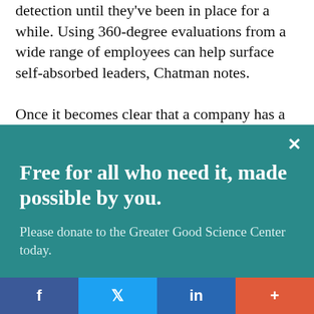detection until they've been in place for a while. Using 360-degree evaluations from a wide range of employees can help surface self-absorbed leaders, Chatman notes.
Once it becomes clear that a company has a toxic
Free for all who need it, made possible by you.
Please donate to the Greater Good Science Center today.
Give Now
f   t   in   +